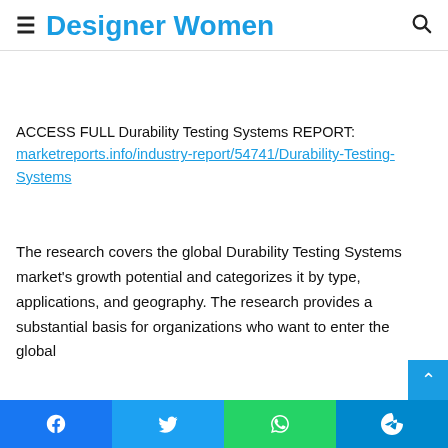Designer Women
ACCESS FULL Durability Testing Systems REPORT: marketreports.info/industry-report/54741/Durability-Testing-Systems
The research covers the global Durability Testing Systems market's growth potential and categorizes it by type, applications, and geography. The research provides a substantial basis for organizations who want to enter the global